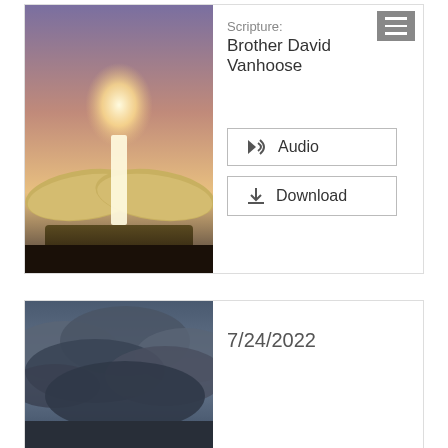[Figure (photo): Open Bible with glowing light emanating from the pages, with a dramatic sunset sky background]
Scripture:
Brother David Vanhoose
Audio
Download
[Figure (photo): Dramatic cloudy sky with dark storm clouds]
7/24/2022